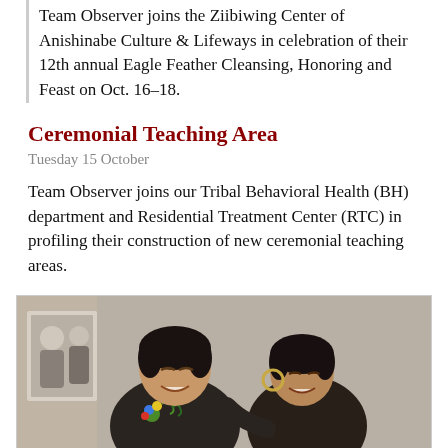Team Observer joins the Ziibiwing Center of Anishinabe Culture & Lifeways in celebration of their 12th annual Eagle Feather Cleansing, Honoring and Feast on Oct. 16-18.
Ceremonial Teaching Area
Tuesday 15 October
Team Observer joins our Tribal Behavioral Health (BH) department and Residential Treatment Center (RTC) in profiling their construction of new ceremonial teaching areas.
[Figure (photo): Two smiling women wearing dark jackets with floral beadwork embroidery, posing together indoors with a black and white photograph visible in the background.]